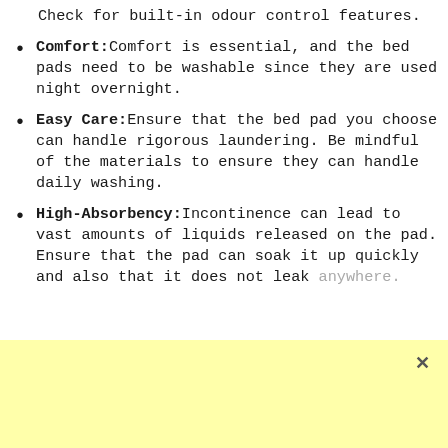Check for built-in odour control features.
Comfort: Comfort is essential, and the bed pads need to be washable since they are used night overnight.
Easy Care: Ensure that the bed pad you choose can handle rigorous laundering. Be mindful of the materials to ensure they can handle daily washing.
High-Absorbency: Incontinence can lead to vast amounts of liquids released on the pad. Ensure that the pad can soak it up quickly and also that it does not leak anywhere.